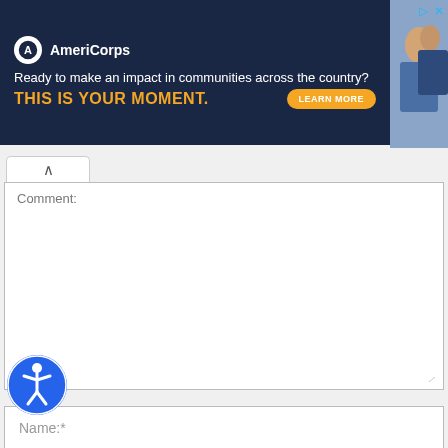[Figure (screenshot): AmeriCorps advertisement banner with dark navy background. Logo with circular icon and 'AmeriCorps' text. Tagline: 'Ready to make an impact in communities across the country?' Bold yellow text: 'THIS IS YOUR MOMENT.' with a yellow 'LEARN MORE' button. Photo of people in background on right side.]
Comment:
Name:*
Email:*
site: